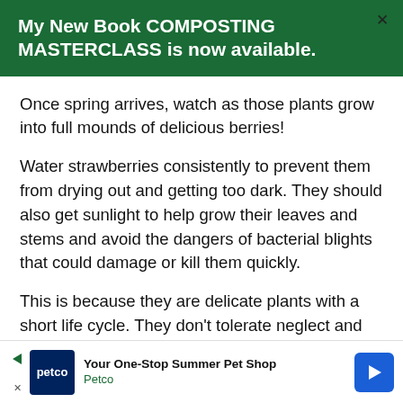My New Book COMPOSTING MASTERCLASS is now available.
Once spring arrives, watch as those plants grow into full mounds of delicious berries!
Water strawberries consistently to prevent them from drying out and getting too dark. They should also get sunlight to help grow their leaves and stems and avoid the dangers of bacterial blights that could damage or kill them quickly.
This is because they are delicate plants with a short life cycle. They don't tolerate neglect and
[Figure (other): Advertisement banner for Petco: 'Your One-Stop Summer Pet Shop' with Petco logo and blue diamond arrow icon]